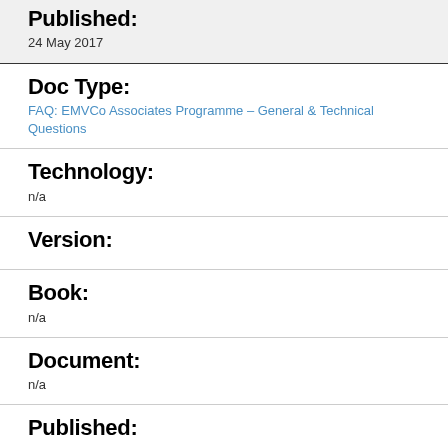Published:
24 May 2017
Doc Type:
FAQ: EMVCo Associates Programme – General & Technical Questions
Technology:
n/a
Version:
Book:
n/a
Document:
n/a
Published:
01 Jan 2020